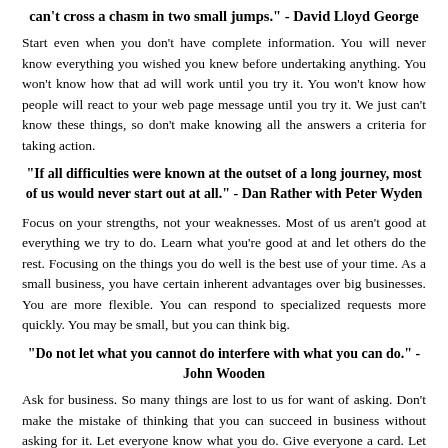can't cross a chasm in two small jumps." - David Lloyd George
Start even when you don't have complete information. You will never know everything you wished you knew before undertaking anything. You won't know how that ad will work until you try it. You won't know how people will react to your web page message until you try it. We just can't know these things, so don't make knowing all the answers a criteria for taking action.
"If all difficulties were known at the outset of a long journey, most of us would never start out at all." - Dan Rather with Peter Wyden
Focus on your strengths, not your weaknesses. Most of us aren't good at everything we try to do. Learn what you’re good at and let others do the rest. Focusing on the things you do well is the best use of your time. As a small business, you have certain inherent advantages over big businesses. You are more flexible. You can respond to specialized requests more quickly. You may be small, but you can think big.
"Do not let what you cannot do interfere with what you can do." - John Wooden
Ask for business. So many things are lost to us for want of asking. Don’t make the mistake of thinking that you can succeed in business without asking for it. Let everyone know what you do. Give everyone a card. Let everyone know that they can call you for a free initial consultation that may include a Calorie Expenditures Report custom-tailored to their body weight. Or offer a free six-page Initial Assessment Report. After you've done so much for the prospect up-front and without charge, they will feel